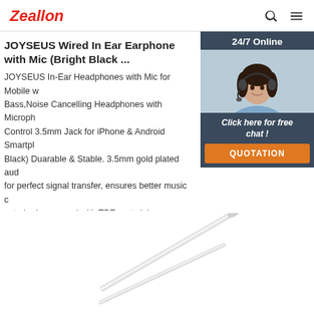Zeallon
JOYSEUS Wired In Ear Earphone with Mic (Bright Black ...
JOYSEUS In-Ear Headphones with Mic for Mobile w Bass,Noise Cancelling Headphones with Microph Control 3.5mm Jack for iPhone & Android Smartpl Black) Duarable & Stable. 3.5mm gold plated aud for perfect signal transfer, ensures better music c exterior is wrapped with TPE material ...
[Figure (infographic): Customer support chat widget with 24/7 Online label, agent photo, Click here for free chat text, and QUOTATION button]
Get Price
[Figure (photo): White earphone cord/cable shown at an angle against white background]